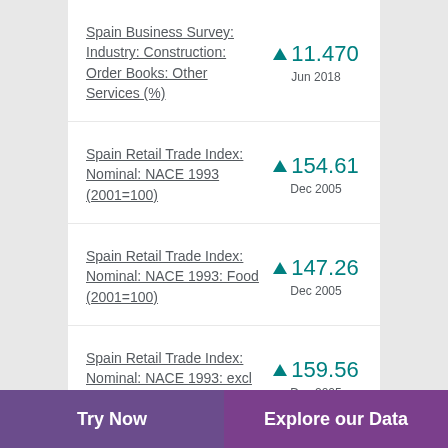Spain Business Survey: Industry: Construction: Order Books: Other Services (%) ▲ 11.470 Jun 2018
Spain Retail Trade Index: Nominal: NACE 1993 (2001=100) ▲ 154.61 Dec 2005
Spain Retail Trade Index: Nominal: NACE 1993: Food (2001=100) ▲ 147.26 Dec 2005
Spain Retail Trade Index: Nominal: NACE 1993: excl Food (2001=100) ▲ 159.56 Dec 2005
Try Now | Explore our Data